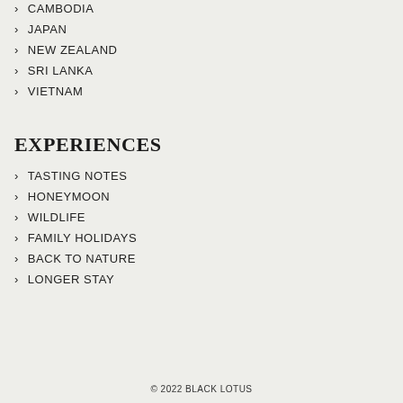CAMBODIA
JAPAN
NEW ZEALAND
SRI LANKA
VIETNAM
EXPERIENCES
TASTING NOTES
HONEYMOON
WILDLIFE
FAMILY HOLIDAYS
BACK TO NATURE
LONGER STAY
© 2022 BLACK LOTUS